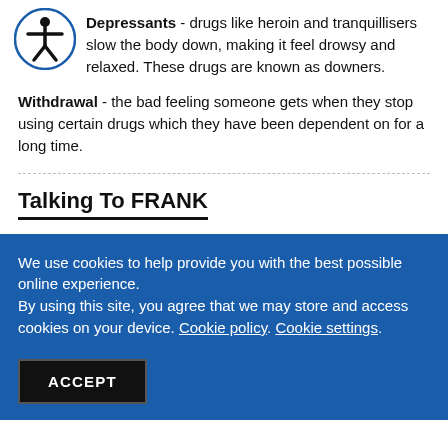Depressants - drugs like heroin and tranquillisers slow the body down, making it feel drowsy and relaxed. These drugs are known as downers.
Withdrawal - the bad feeling someone gets when they stop using certain drugs which they have been dependent on for a long time.
Talking To FRANK
We use cookies to help provide you with the best possible online experience. By using this site, you agree that we may store and access cookies on your device. Cookie policy. Cookie settings.